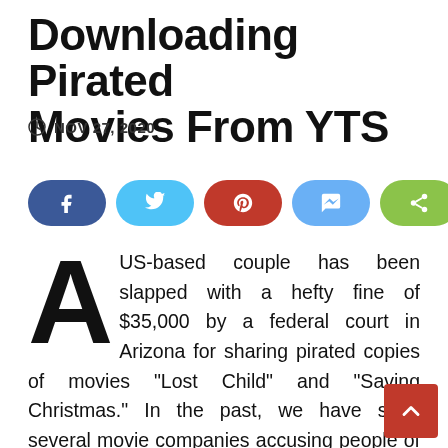Downloading Pirated Movies From YTS
NOV 27, 2020
[Figure (infographic): Social share buttons: Facebook, Twitter, Pinterest, Messenger, Share]
A US-based couple has been slapped with a hefty fine of $35,000 by a federal court in Arizona for sharing pirated copies of movies “Lost Child” and “Saving Christmas.” In the past, we have seen several movie companies accusing people of downloading movies from BitTorrent, and often, such cases are settled with an undisclosed